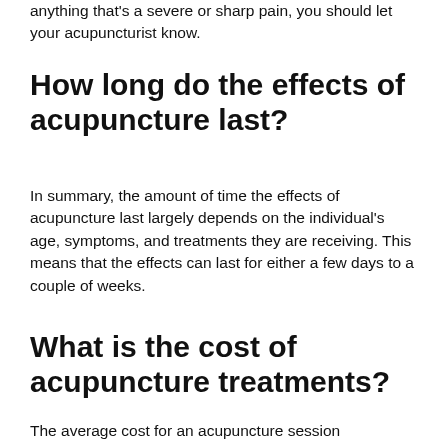anything that's a severe or sharp pain, you should let your acupuncturist know.
How long do the effects of acupuncture last?
In summary, the amount of time the effects of acupuncture last largely depends on the individual's age, symptoms, and treatments they are receiving. This means that the effects can last for either a few days to a couple of weeks.
What is the cost of acupuncture treatments?
The average cost for an acupuncture session usually ranges between $75–$100. The...